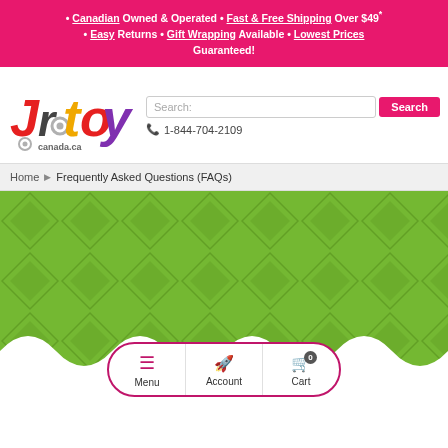• Canadian Owned & Operated • Fast & Free Shipping Over $49* • Easy Returns • Gift Wrapping Available • Lowest Prices Guaranteed!
[Figure (logo): Jr.toy canada.ca logo with colorful letters and gear icons]
Search:
1-844-704-2109
Home ▶ Frequently Asked Questions (FAQs)
[Figure (illustration): Green diamond-patterned background with scalloped white bottom edge and bottom navigation bar with Menu, Account, Cart (0) buttons]